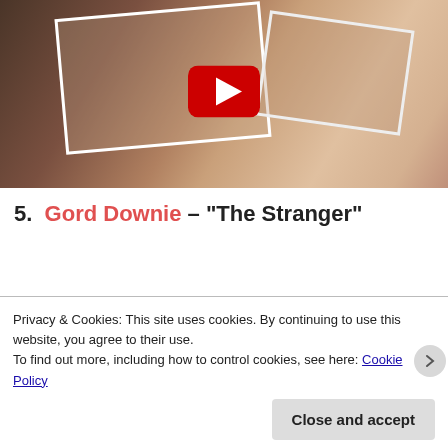[Figure (screenshot): YouTube video thumbnail showing hands with red nails holding photographs/cards, with a red YouTube play button overlay in the center]
5. Gord Downie – "The Stranger"
This is the new song and video for the reconciliation project Gord Downie's been
Privacy & Cookies: This site uses cookies. By continuing to use this website, you agree to their use.
To find out more, including how to control cookies, see here: Cookie Policy
Close and accept